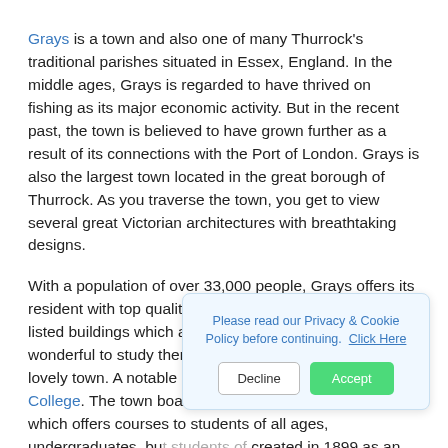Grays is a town and also one of many Thurrock's traditional parishes situated in Essex, England. In the middle ages, Grays is regarded to have thrived on fishing as its major economic activity. But in the recent past, the town is believed to have grown further as a result of its connections with the Port of London. Grays is also the largest town located in the great borough of Thurrock. As you traverse the town, you get to view several great Victorian architectures with breathtaking designs.
With a population of over 33,000 people, Grays offers its resident with top quality amenities. The town has several listed buildings which are under conservation and wonderful to study them as you dig into the history of this lovely town. A notable place to visit is the South Essex College. The town boasts of having a top rated college which offers courses to students of all ages, undergraduates, bu[...] created in 1899 as an art sc[...] 1991. The ancient structure[...] view.
Please read our Privacy & Cookie Policy before continuing. Click Here